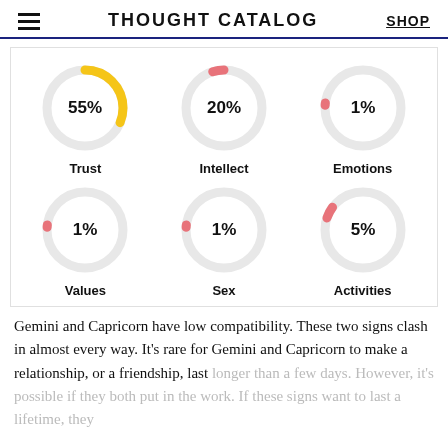THOUGHT CATALOG | SHOP
[Figure (donut-chart): Compatibility Charts]
Gemini and Capricorn have low compatibility. These two signs clash in almost every way. It’s rare for Gemini and Capricorn to make a relationship, or a friendship, last longer than a few days. However, it’s possible if they both put in the work. If these signs want to last a lifetime, they